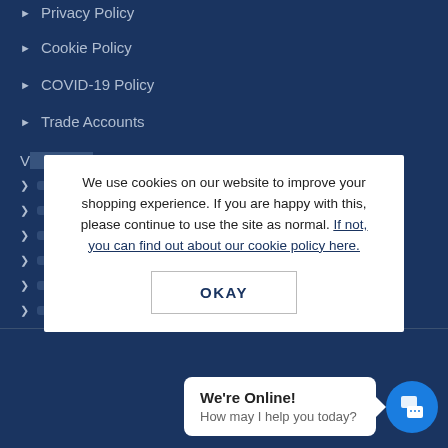Privacy Policy
Cookie Policy
COVID-19 Policy
Trade Accounts
[Figure (screenshot): Cookie consent modal overlay on a dark blue website background. Modal contains text: 'We use cookies on our website to improve your shopping experience. If you are happy with this, please continue to use the site as normal. If not, you can find out about our cookie policy here.' with an OKAY button below.]
We use cookies on our website to improve your shopping experience. If you are happy with this, please continue to use the site as normal. If not, you can find out about our cookie policy here.
OKAY
We're Online! How may I help you today?